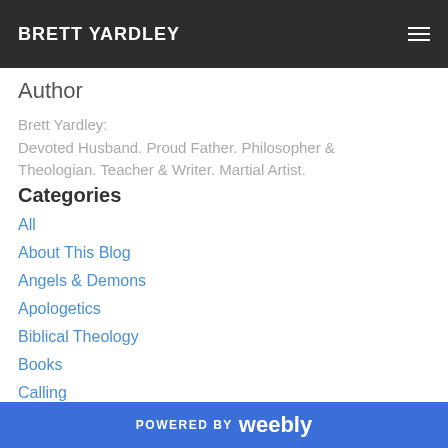BRETT YARDLEY
Author
Brett Yardley:
Devoted Husband. Proud Father. Philosopher & Theologian. Teacher & Writer. Martial Artist.
Categories
All
About This Blog
Angels & Demons
Apologetics
Biblical Theology
Books
Calling
Christology
Church History
POWERED BY weebly